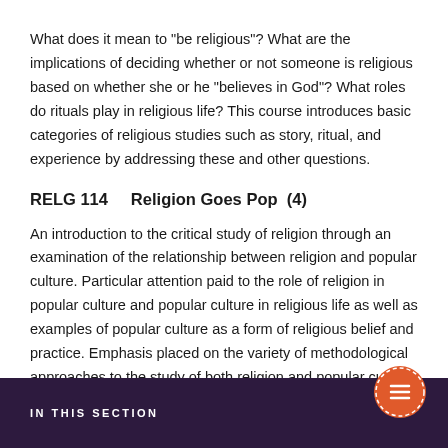What does it mean to "be religious"? What are the implications of deciding whether or not someone is religious based on whether she or he "believes in God"? What roles do rituals play in religious life? This course introduces basic categories of religious studies such as story, ritual, and experience by addressing these and other questions.
RELG 114    Religion Goes Pop  (4)
An introduction to the critical study of religion through an examination of the relationship between religion and popular culture. Particular attention paid to the role of religion in popular culture and popular culture in religious life as well as examples of popular culture as a form of religious belief and practice. Emphasis placed on the variety of methodological approaches to the study of both religion and popular culture, including
IN THIS SECTION